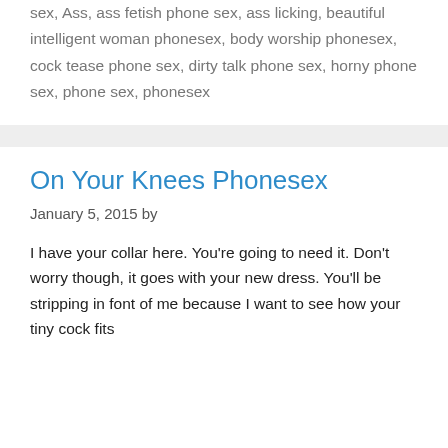sex, Ass, ass fetish phone sex, ass licking, beautiful intelligent woman phonesex, body worship phonesex, cock tease phone sex, dirty talk phone sex, horny phone sex, phone sex, phonesex
On Your Knees Phonesex
January 5, 2015 by
I have your collar here. You're going to need it. Don't worry though, it goes with your new dress. You'll be stripping in font of me because I want to see how your tiny cock fits